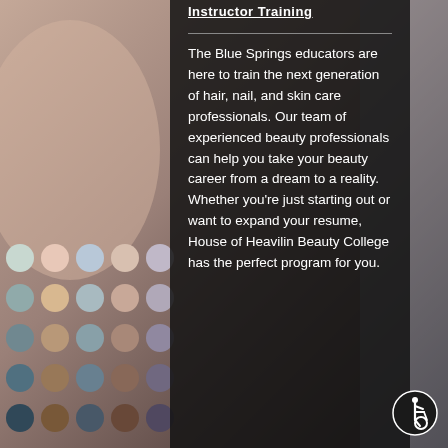Instructor Training
The Blue Springs educators are here to train the next generation of hair, nail, and skin care professionals. Our team of experienced beauty professionals can help you take your beauty career from a dream to a reality. Whether you're just starting out or want to expand your resume, House of Heavilin Beauty College has the perfect program for you.
[Figure (illustration): Accessibility icon (wheelchair symbol) in a circular badge, white on dark circle, positioned bottom right]